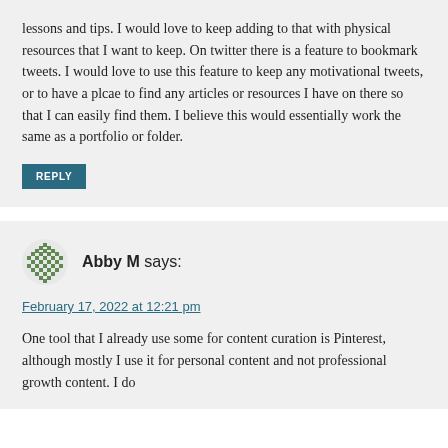lessons and tips. I would love to keep adding to that with physical resources that I want to keep. On twitter there is a feature to bookmark tweets. I would love to use this feature to keep any motivational tweets, or to have a plcae to find any articles or resources I have on there so that I can easily find them. I believe this would essentially work the same as a portfolio or folder.
REPLY
Abby M says:
February 17, 2022 at 12:21 pm
One tool that I already use some for content curation is Pinterest, although mostly I use it for personal content and not professional growth content. I do